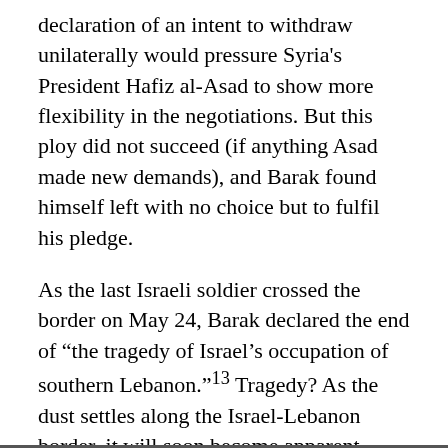declaration of an intent to withdraw unilaterally would pressure Syria's President Hafiz al-Asad to show more flexibility in the negotiations. But this ploy did not succeed (if anything Asad made new demands), and Barak found himself left with no choice but to fulfil his pledge.
As the last Israeli soldier crossed the border on May 24, Barak declared the end of "the tragedy of Israel's occupation of southern Lebanon."13 Tragedy? As the dust settles along the Israel-Lebanon border, it will soon become apparent whether or not the Israeli occupation of the security zone was indeed a tragedy or whether the real tragedy is yet to unfold.